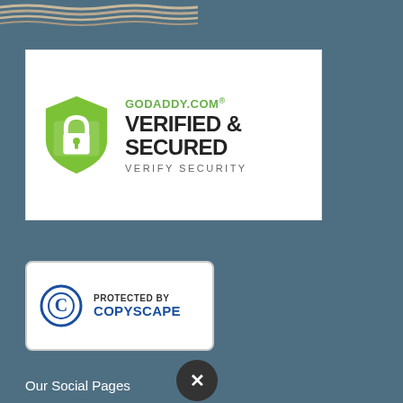[Figure (logo): Rope decorative element at top of page]
[Figure (logo): GoDaddy.com Verified & Secured badge with green shield and lock icon]
[Figure (logo): Protected by Copyscape badge with copyright circle icon]
Our Social Pages
[Figure (infographic): Social pages icons row: Read Our Reviews badge with gold stars, group/community icon box, Yelp icon box]
Opening Hours